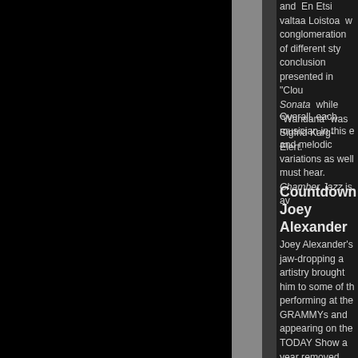and  En Etsi valtaa Loistoa  w conglomeration of different sty conclusion presented in "Clou Sonata  while "Wandana" was Sigfrid Karg-Elert.
Overall, each musician in this e and melodic variations as well must hear. Chamber Jazz is av
Countdown
Joey Alexander
Joey Alexander's jaw-dropping a artistry brought him to some of th performing at the GRAMMYs and appearing on the TODAY Show a year removed from his debut, the dedication to his craft that made evident in his remarkable evolutio release, COUNTDOWN. Now ste composer, while still paying tribu (Coltrane, Monk, Strayhorn), Joe